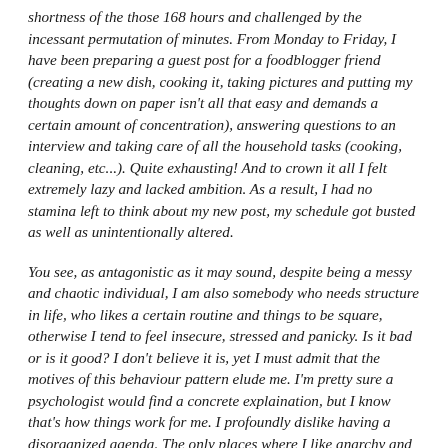shortness of the those 168 hours and challenged by the incessant permutation of minutes. From Monday to Friday, I have been preparing a guest post for a foodblogger friend (creating a new dish, cooking it, taking pictures and putting my thoughts down on paper isn't all that easy and demands a certain amount of concentration), answering questions to an interview and taking care of all the household tasks (cooking, cleaning, etc...). Quite exhausting! And to crown it all I felt extremely lazy and lacked ambition. As a result, I had no stamina left to think about my new post, my schedule got busted as well as unintentionally altered.
You see, as antagonistic as it may sound, despite being a messy and chaotic individual, I am also somebody who needs structure in life, who likes a certain routine and things to be square, otherwise I tend to feel insecure, stressed and panicky. Is it bad or is it good? I don't believe it is, yet I must admit that the motives of this behaviour pattern elude me. I'm pretty sure a psychologist would find a concrete explaination, but I know that's how things work for me. I profoundly dislike having a disorganized agenda. The only places where I like anarchy and clutter to reign supreme are in my computer room, my kitchen or in arts (painting, photography, cinema or music).